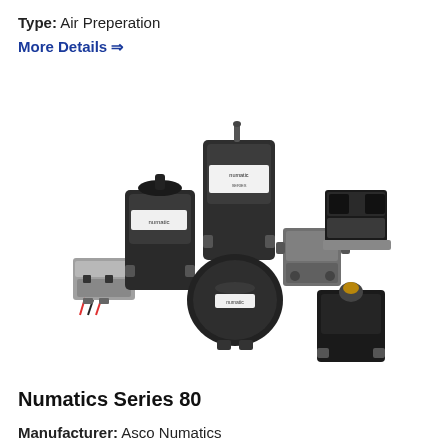Type: Air Preperation
More Details ⇒
[Figure (photo): Group of Numatics Series 80 air preparation components including pressure regulators, solenoid valves, and pneumatic control devices in black/grey finish on white background]
Numatics Series 80
Manufacturer: Asco Numatics